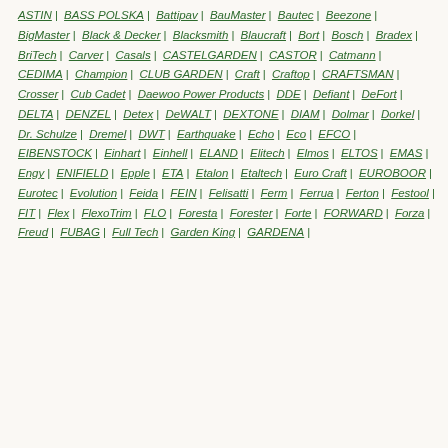ASTIN | BASS POLSKA | Battipav | BauMaster | Bautec | Beezone | BigMaster | Black & Decker | Blacksmith | Blaucraft | Bort | Bosch | Bradex | BriTech | Carver | Casals | CASTELGARDEN | CASTOR | Catmann | CEDIMA | Champion | CLUB GARDEN | Craft | Craftop | CRAFTSMAN | Crosser | Cub Cadet | Daewoo Power Products | DDE | Defiant | DeFort | DELTA | DENZEL | Detex | DeWALT | DEXTONE | DIAM | Dolmar | Dorkel | Dr. Schulze | Dremel | DWT | Earthquake | Echo | Eco | EFCO | EIBENSTOCK | Einhart | Einhell | ELAND | Elitech | Elmos | ELTOS | EMAS | Engy | ENIFIELD | Epple | ETA | Etalon | Etaltech | Euro Craft | EUROBOOR | Eurotec | Evolution | Feida | FEIN | Felisatti | Ferm | Ferrua | Ferton | Festool | FIT | Flex | FlexoTrim | FLO | Foresta | Forester | Forte | FORWARD | Forza | Freud | FUBAG | Full Tech | Garden King | GARDENA |